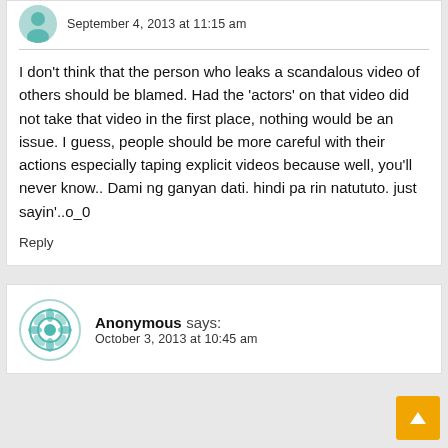September 4, 2013 at 11:15 am
I don't think that the person who leaks a scandalous video of others should be blamed. Had the 'actors' on that video did not take that video in the first place, nothing would be an issue. I guess, people should be more careful with their actions especially taping explicit videos because well, you'll never know.. Dami ng ganyan dati. hindi pa rin natututo. just sayin'..o_0
Reply
Anonymous says:
October 3, 2013 at 10:45 am